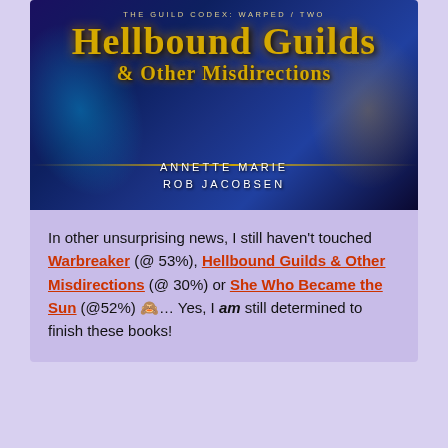[Figure (illustration): Book cover for 'Hellbound Guilds & Other Misdirections' — The Guild Codex: Warped / Two, by Annette Marie and Rob Jacobsen. Dark fantasy/sci-fi cover with blue and gold color scheme, large gold stylized title text, white author names.]
In other unsurprising news, I still haven't touched Warbreaker (@ 53%), Hellbound Guilds & Other Misdirections (@ 30%) or She Who Became the Sun (@52%) 🙈… Yes, I am still determined to finish these books!